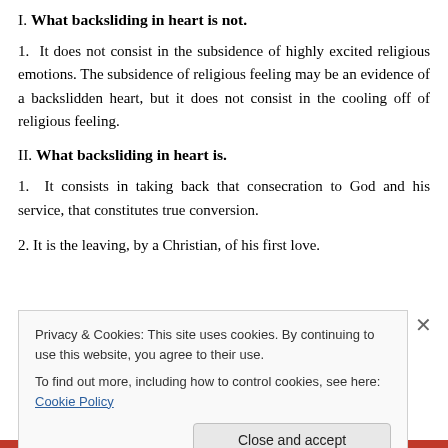I. What backsliding in heart is not.
1.  It does not consist in the subsidence of highly excited religious emotions. The subsidence of religious feeling may be an evidence of a backslidden heart, but it does not consist in the cooling off of religious feeling.
II. What backsliding in heart is.
1.  It consists in taking back that consecration to God and his service, that constitutes true conversion.
2. It is the leaving, by a Christian, of his first love.
Privacy & Cookies: This site uses cookies. By continuing to use this website, you agree to their use.
To find out more, including how to control cookies, see here: Cookie Policy